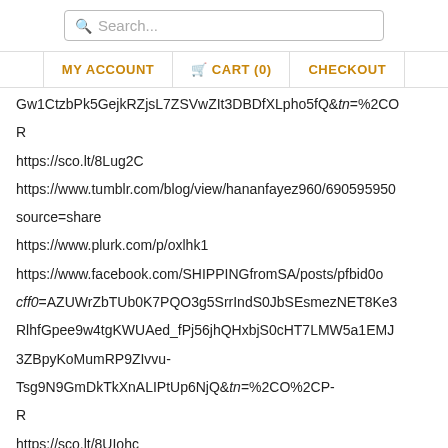Search... | MY ACCOUNT | CART (0) | CHECKOUT
Gw1CtzbPk5GejkRZjsL7ZSVwZIt3DBDfXLpho5fQ&tn=%2CO%2CR
https://sco.lt/8Lug2C
https://www.tumblr.com/blog/view/hananfayez960/690595...source=share
https://www.plurk.com/p/oxlhk1
https://www.facebook.com/SHIPPINGfromSA/posts/pfbid0...cff0=AZUWrZbTUb0K7PQO3g5SrrIndS0JbSEsmezNET8Ke3RlhfGpee9w4tgKWUAed_fPj56jhQHxbjS0cHT7LMW5a1EMJ3ZBpyKoMumRP9ZIvvu-Tsg9N9GmDkTkXnALIPtUp6NjQ&tn=%2CO%2CP-R
https://sco.lt/8UIohc
https://www.tumblr.com/blog/view/hananfayez960/6905951...source=share
https://www.plurk.com/p/oxlhlh
https://www.facebook.com/SHIPPINGfromSA/posts/pfbid0...